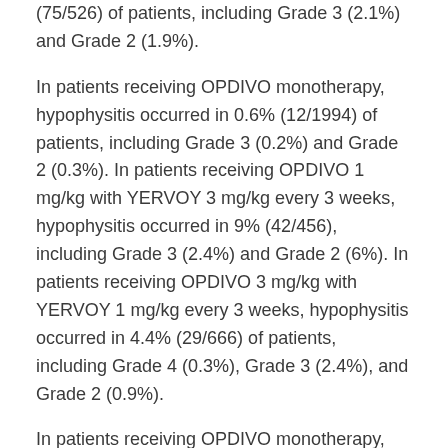(75/526) of patients, including Grade 3 (2.1%) and Grade 2 (1.9%).
In patients receiving OPDIVO monotherapy, hypophysitis occurred in 0.6% (12/1994) of patients, including Grade 3 (0.2%) and Grade 2 (0.3%). In patients receiving OPDIVO 1 mg/kg with YERVOY 3 mg/kg every 3 weeks, hypophysitis occurred in 9% (42/456), including Grade 3 (2.4%) and Grade 2 (6%). In patients receiving OPDIVO 3 mg/kg with YERVOY 1 mg/kg every 3 weeks, hypophysitis occurred in 4.4% (29/666) of patients, including Grade 4 (0.3%), Grade 3 (2.4%), and Grade 2 (0.9%).
In patients receiving OPDIVO monotherapy, thyroiditis occurred in 0.6% (12/1994) of patients, including Grade 2 (0.2%). In patients receiving OPDIVO 3 mg/kg with YERVOY 1 mg/kg every 3 weeks,